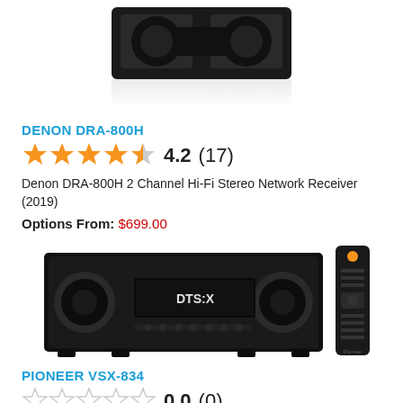[Figure (photo): Top portion of a stereo receiver/speaker product photo, cropped at top of page]
DENON DRA-800H
4.2 (17)
Denon DRA-800H 2 Channel Hi-Fi Stereo Network Receiver (2019)
Options From: $699.00
[Figure (photo): Pioneer VSX-834 AV receiver with remote control]
PIONEER VSX-834
0.0 (0)
Pioneer VSX-834 7.2 Channel Audio/Video Receiver...